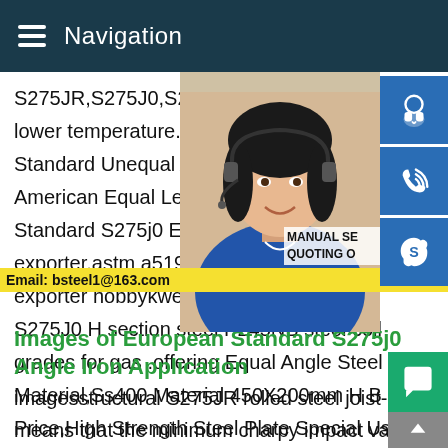Navigation
S275JR,S275J0,S235J2W.EN10025 S235 lower temperature.PRIME HOT ROLL STE Standard Unequal Angles European Stan American Equal Leg Angles.Hot RolledIma Standard S275j0 Equal Angle Exporter im exporter,astm a519 grade 1020 supplier e exporter hobbykwekerijvosmeer.nl.China s S275J0 H section steel P245NB steel coil grades for gas .offering Equal Angle Steel Material,Ss400 Material 450X200mm H B Price,High Strength Steel Plate Special Used for Ship and so on.
[Figure (photo): Customer service representative woman with headset, blue background with service icons (headset, phone, Skype). Email: bsteel1@163.com. MANUAL SE... QUOTING O...]
Images of European Standard S275j0 Angle Iron Application
imagesstructural S275JR rolled steel joist-Nana party SteelJR means that the minimum charpy impact value at room tempera